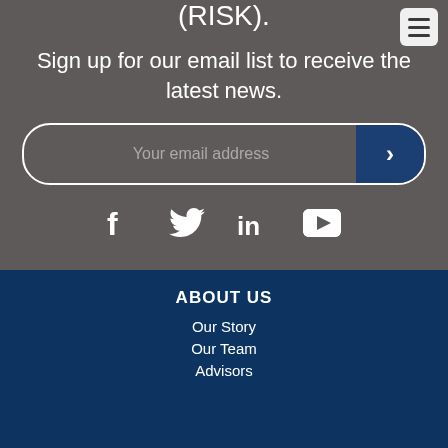(RISK).
[Figure (other): Hamburger menu button icon with three horizontal lines]
Sign up for our email list to receive the latest news.
[Figure (other): Email input field with placeholder 'Your email address' and a dark blue submit arrow button]
[Figure (other): Social media icons: Facebook, Twitter, LinkedIn, YouTube]
ABOUT US
Our Story
Our Team
Advisors